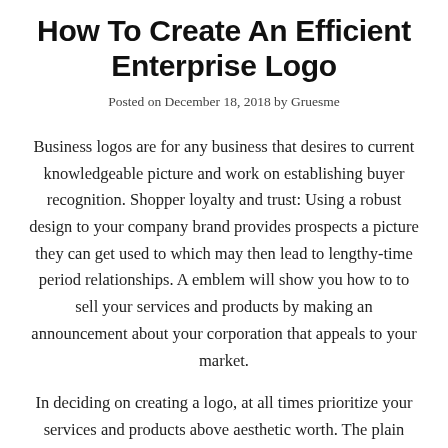How To Create An Efficient Enterprise Logo
Posted on December 18, 2018 by Gruesme
Business logos are for any business that desires to current knowledgeable picture and work on establishing buyer recognition. Shopper loyalty and trust: Using a robust design to your company brand provides prospects a picture they can get used to which may then lead to lengthy-time period relationships. A emblem will show you how to to sell your services and products by making an announcement about your corporation that appeals to your market.
In deciding on creating a logo, at all times prioritize your services and products above aesthetic worth. The plain selection for a pet emblem is to characteristic a picture associated to animals as part of the design.